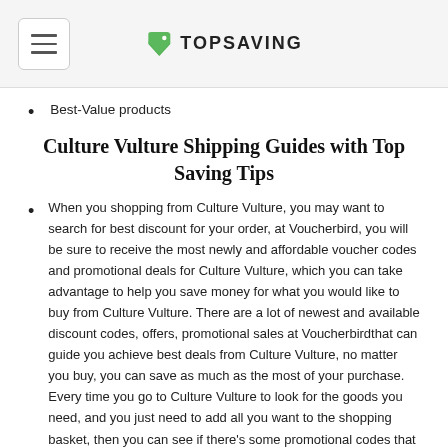[Figure (logo): TopSaving logo with green price tag icon and bold uppercase text TOPSAVING]
Best-Value products
Culture Vulture Shipping Guides with Top Saving Tips
When you shopping from Culture Vulture, you may want to search for best discount for your order, at Voucherbird, you will be sure to receive the most newly and affordable voucher codes and promotional deals for Culture Vulture, which you can take advantage to help you save money for what you would like to buy from Culture Vulture. There are a lot of newest and available discount codes, offers, promotional sales at Voucherbirdthat can guide you achieve best deals from Culture Vulture, no matter you buy, you can save as much as the most of your purchase. Every time you go to Culture Vulture to look for the goods you need, and you just need to add all you want to the shopping basket, then you can see if there's some promotional codes that can used for your goods, if you find Culture Vulture accept discounts, then